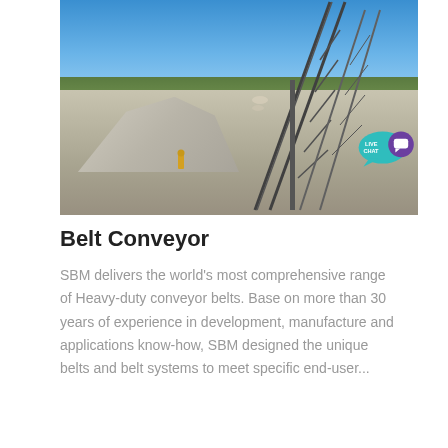[Figure (photo): Industrial belt conveyor system at a mining/quarry site, carrying aggregate/gravel up a steep incline. Large piles of crushed stone/gravel visible below, with a worker in a yellow vest at the base. Blue sky and green treeline in background.]
Belt Conveyor
SBM delivers the world's most comprehensive range of Heavy-duty conveyor belts. Base on more than 30 years of experience in development, manufacture and applications know-how, SBM designed the unique belts and belt systems to meet specific end-user...